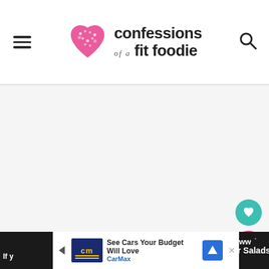confessions of a fit foodie — navigation header with hamburger menu and search icon
[Figure (photo): Large empty/white image area below the site header, placeholder for a blog post featured image]
[Figure (illustration): Teal circular floating action button with a heart icon]
[Figure (illustration): Pink/red circular floating action button with a share icon]
If y...
[Figure (infographic): CarMax advertisement banner: See Cars Your Budget Will Love — CarMax]
r Salads